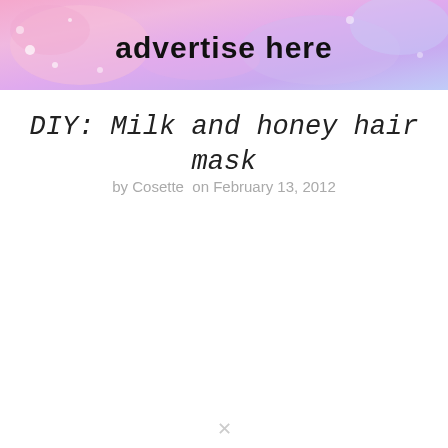[Figure (illustration): Banner advertisement with pink, purple, and lavender marble/fluid art background with 'advertise here' text in bold black]
DIY: Milk and honey hair mask
by Cosette on February 13, 2012